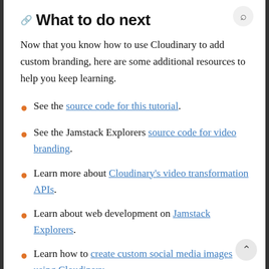What to do next
Now that you know how to use Cloudinary to add custom branding, here are some additional resources to help you keep learning.
See the source code for this tutorial.
See the Jamstack Explorers source code for video branding.
Learn more about Cloudinary's video transformation APIs.
Learn about web development on Jamstack Explorers.
Learn how to create custom social media images using Cloudinary.
Watch Ben's full mission to see how it all comes